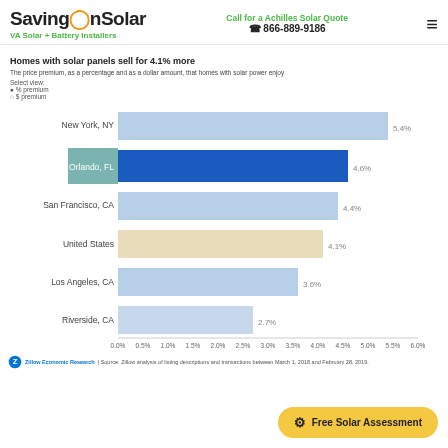SavingOnSolar — VA Solar + Battery Installers | Call for a Achilles Solar Quote 866-889-9186
Homes with solar panels sell for 4.1% more
The price premium, as a percentage and as a dollar amount, that homes with solar power enjoy
Select view:
● % premium
○ $ premium
[Figure (bar-chart): Homes with solar panels sell for 4.1% more]
Zillow Economic Research | Source: Zillow analysis of listing descriptions and transactions between March 1, 2018 and February 28, 2019.
Free Solar Assessment